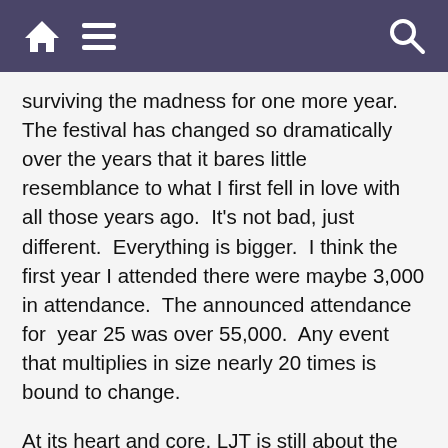[home icon] [menu icon] [search icon]
surviving the madness for one more year.  The festival has changed so dramatically over the years that it bares little resemblance to what I first fell in love with all those years ago.  It's not bad, just different.  Everything is bigger.  I think the first year I attended there were maybe 3,000 in attendance.  The announced attendance for  year 25 was over 55,000.  Any event that multiplies in size nearly 20 times is bound to change.
At its heart and core, LJT is still about the music.  While social media lit up in the aftermath about the bullish, ignorant behavior of a rowdy minority, that should not overshadow the fact that 95% of that 55,000 were there for some amazing music that lasted from Thom Shepherd's first bloody mary tune at 10AM